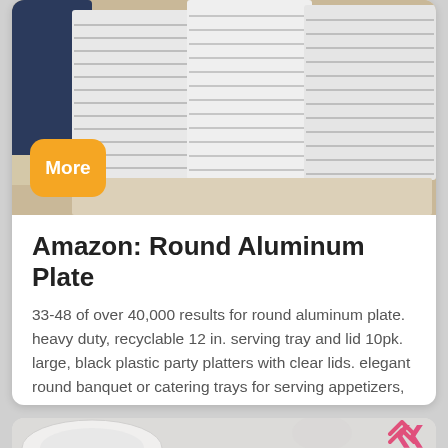[Figure (photo): Stacks of white round aluminum plates/trays piled high, viewed from the side, with a person visible in the background on the left.]
Amazon: Round Aluminum Plate
33-48 of over 40,000 results for round aluminum plate. heavy duty, recyclable 12 in. serving tray and lid 10pk. large, black plastic party platters with clear lids. elegant round banquet or catering trays for serving appetizers, sandwich and
[Figure (photo): Partial view of a round white plate on a light gray surface, with a crumpled plastic bag in the background, and a pink chevron/up-arrow icon in the lower right.]